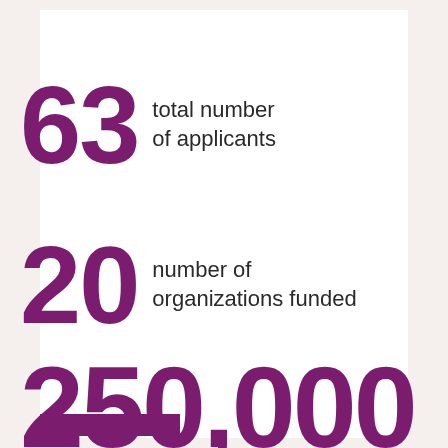63 total number of applicants
20 number of organizations funded
250,000 total amount distributed this cycle